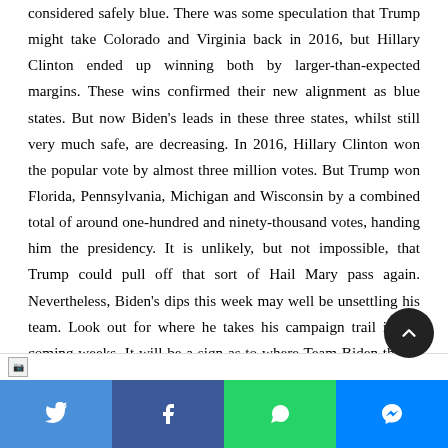considered safely blue. There was some speculation that Trump might take Colorado and Virginia back in 2016, but Hillary Clinton ended up winning both by larger-than-expected margins. These wins confirmed their new alignment as blue states. But now Biden's leads in these three states, whilst still very much safe, are decreasing. In 2016, Hillary Clinton won the popular vote by almost three million votes. But Trump won Florida, Pennsylvania, Michigan and Wisconsin by a combined total of around one-hundred and ninety-thousand votes, handing him the presidency. It is unlikely, but not impossible, that Trump could pull off that sort of Hail Mary pass again. Nevertheless, Biden's dips this week may well be unsettling his team. Look out for where he takes his campaign trail in the coming weeks. It will be a sign as to where Team Biden thinks they need to shore up sup
[Figure (other): Broken image placeholder at bottom of article]
Social share bar with Twitter, Facebook, WhatsApp, Messenger buttons